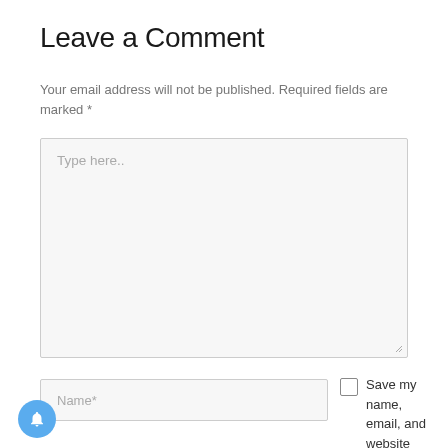Leave a Comment
Your email address will not be published. Required fields are marked *
[Figure (screenshot): Large text input area with placeholder text 'Type here..' and a resize handle at bottom-right]
[Figure (screenshot): Name* text input field]
Save my name, email, and website
[Figure (other): Blue circular notification bell button at bottom-left]